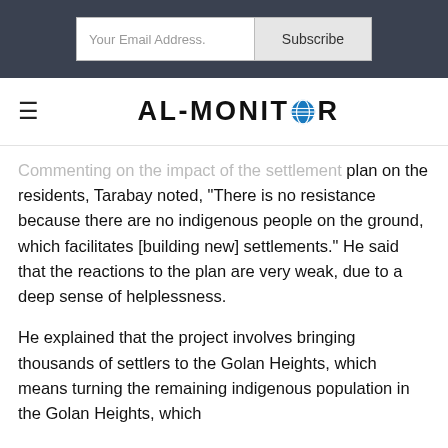[Figure (screenshot): Email subscription bar with 'Your Email Address.' input field and 'Subscribe' button on dark background]
[Figure (logo): AL-MONITOR logo with globe icon replacing the O, navigation hamburger menu on left]
Commenting on the impact of the settlement plan on the residents, Tarabay noted, “There is no resistance because there are no indigenous people on the ground, which facilitates [building new] settlements.” He said that the reactions to the plan are very weak, due to a deep sense of helplessness.
He explained that the project involves bringing thousands of settlers to the Golan Heights, which means turning the remaining indigenous population in the Golan Heights, which